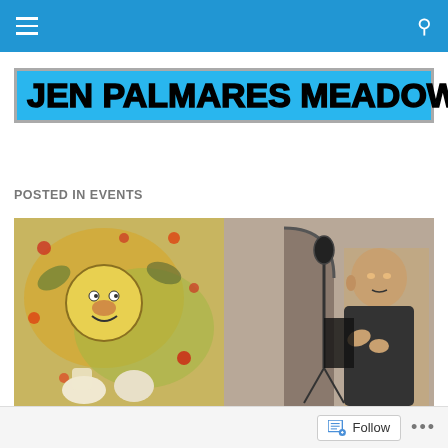Navigation bar with menu and search icons
[Figure (logo): JEN PALMARES MEADOWS blog logo in bold black text on a bright blue/cyan background with a grey border]
POSTED IN EVENTS
[Figure (photo): Two side-by-side photos: left shows a colorful mural painting with a sun face and figures; right shows a bald man speaking at a microphone in a dim venue]
Follow •••